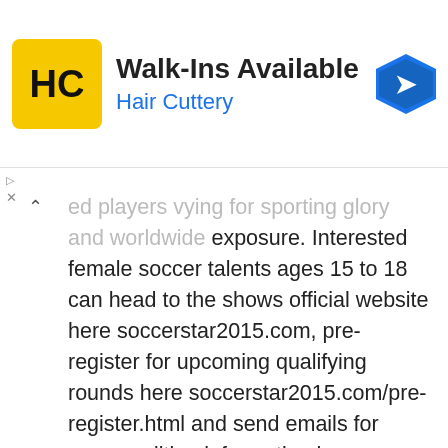[Figure (other): Hair Cuttery advertisement banner with HC logo, 'Walk-Ins Available' headline, blue arrow navigation icon]
...ed players vying for sporting glory and worldwide exposure. Interested female soccer talents ages 15 to 18 can head to the shows official website here soccerstar2015.com, pre-register for upcoming qualifying rounds here soccerstar2015.com/pre-register.html and send emails for more audition information here info@soccerstar2015.com. More details for this fabulous television spectacular will be on their way and will be posted here upon release. Check back for more competition new and updates and leave a message in the box below and tell us what you think of this new series and why you should be chosen to compete on Nickelodeon's Soccer Superstar.